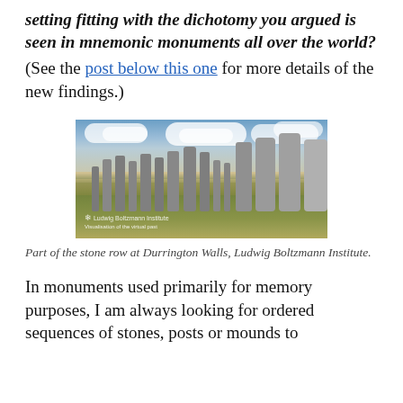setting fitting with the dichotomy you argued is seen in mnemonic monuments all over the world? (See the post below this one for more details of the new findings.)
[Figure (photo): Photograph of part of the stone row at Durrington Walls, showing tall standing stones in a grassy field under a cloudy sky. Ludwig Boltzmann Institute.]
Part of the stone row at Durrington Walls, Ludwig Boltzmann Institute.
In monuments used primarily for memory purposes, I am always looking for ordered sequences of stones, posts or mounds to